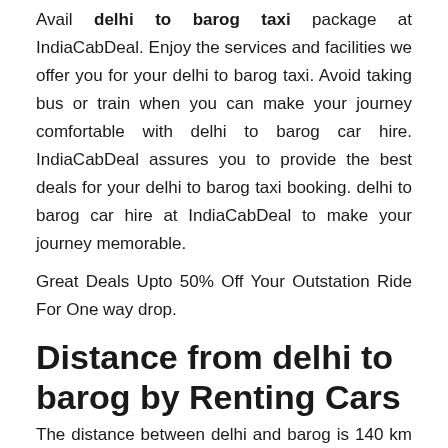Avail delhi to barog taxi package at IndiaCabDeal. Enjoy the services and facilities we offer you for your delhi to barog taxi. Avoid taking bus or train when you can make your journey comfortable with delhi to barog car hire. IndiaCabDeal assures you to provide the best deals for your delhi to barog taxi booking. delhi to barog car hire at IndiaCabDeal to make your journey memorable.
Great Deals Upto 50% Off Your Outstation Ride For One way drop.
Distance from delhi to barog by Renting Cars
The distance between delhi and barog is 140 km and the average time taken to reach barog from